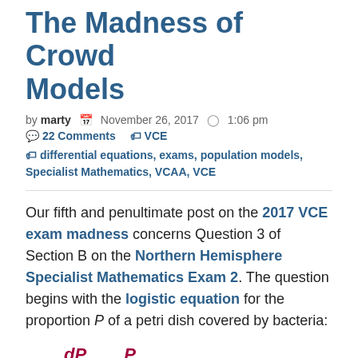The Madness of Crowd Models
by marty  November 26, 2017  1:06 pm  22 Comments  VCE
differential equations, exams, population models, Specialist Mathematics, VCAA, VCE
Our fifth and penultimate post on the 2017 VCE exam madness concerns Question 3 of Section B on the Northern Hemisphere Specialist Mathematics Exam 2. The question begins with the logistic equation for the proportion P of a petri dish covered by bacteria: